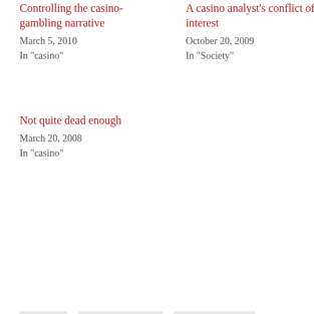Controlling the casino-gambling narrative
March 5, 2010
In "casino"
A casino analyst's conflict of interest
October 20, 2009
In "Society"
Not quite dead enough
March 20, 2008
In "casino"
CASINO  CHARLIE BAKER  DEVAL PATRICK  MIDDLEBOROUGH  ROBERT DELEO  TIM CAHILL
PREVIOUS
What's wrong with the Red Sox? The answer.
NEXT